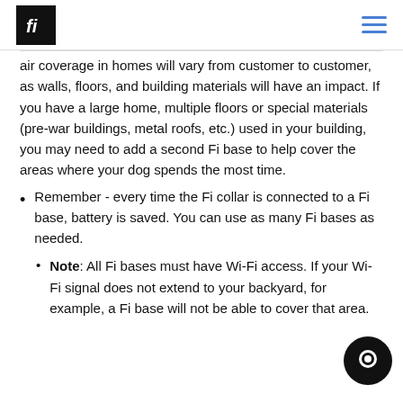fi (logo) | hamburger menu
air coverage in homes will vary from customer to customer, as walls, floors, and building materials will have an impact. If you have a large home, multiple floors or special materials (pre-war buildings, metal roofs, etc.) used in your building, you may need to add a second Fi base to help cover the areas where your dog spends the most time.
Remember - every time the Fi collar is connected to a Fi base, battery is saved. You can use as many Fi bases as needed.
Note: All Fi bases must have Wi-Fi access. If your Wi-Fi signal does not extend to your backyard, for example, a Fi base will not be able to cover that area.